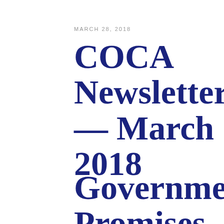MARCH 28, 2018
COCA Newsletter — March 2018
Government Promises